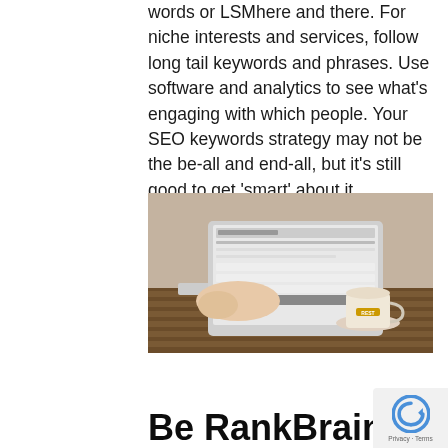words or LSMhere and there. For niche interests and services, follow long tail keywords and phrases. Use software and analytics to see what's engaging with which people. Your SEO keywords strategy may not be the be-all and end-all, but it's still good to get 'smart' about it.
[Figure (photo): Person typing on a MacBook laptop on a wooden table with a coffee cup on the right side.]
Be RankBrain